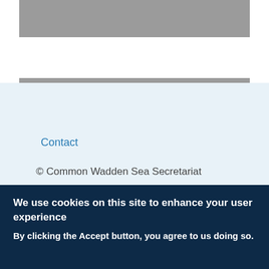[Figure (other): Gray banner image at top of page]
15.08.2022
Wadden Sea Ecotourism contributes to Marine Mud and Wellness Conference in Boryeong, Korea
Contact
© Common Wadden Sea Secretariat
We use cookies on this site to enhance your user experience
By clicking the Accept button, you agree to us doing so.